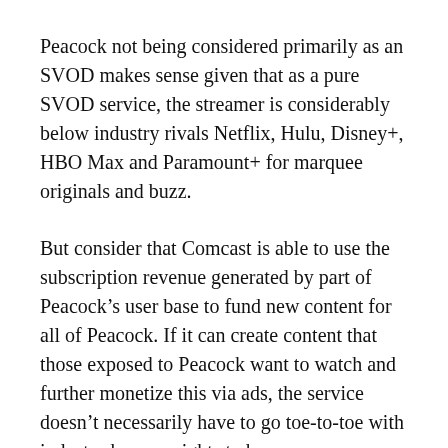Peacock not being considered primarily as an SVOD makes sense given that as a pure SVOD service, the streamer is considerably below industry rivals Netflix, Hulu, Disney+, HBO Max and Paramount+ for marquee originals and buzz.
But consider that Comcast is able to use the subscription revenue generated by part of Peacock's user base to fund new content for all of Peacock. If it can create content that those exposed to Peacock want to watch and further monetize this via ads, the service doesn't necessarily have to go toe-to-toe with industry heavyweights to be a success.
The integration of FAST and AVOD within Peacock also points to the future being maximized monetization of